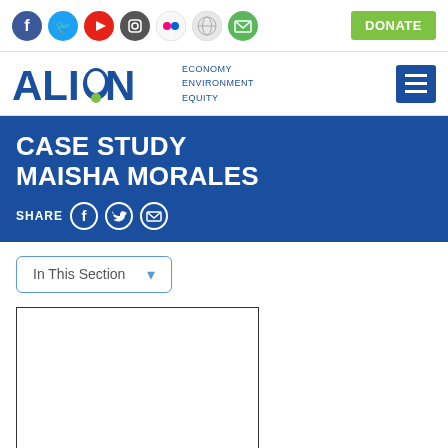Social icons: Facebook, Twitter, YouTube, Instagram, Flickr, Globe, Email | DONATE button
[Figure (logo): ALIGN logo with tagline ECONOMY ENVIRONMENT EQUITY and hamburger menu button]
CASE STUDY
MAISHA MORALES
SHARE (Facebook) (Twitter) (Email)
In This Section ▾
[Figure (photo): Empty white image box with black border]